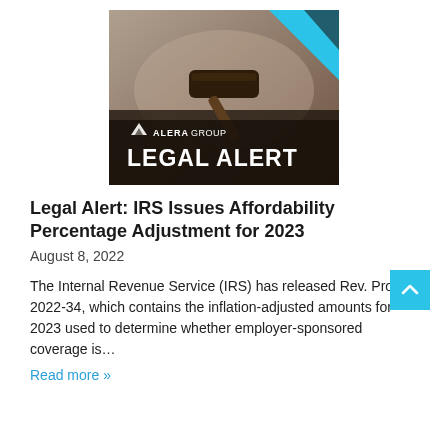[Figure (logo): Alera Group Legal Alert banner image showing a judge's gavel with the Alera Group logo and 'LEGAL ALERT' text, with a blue geometric accent in the upper right corner.]
Legal Alert: IRS Issues Affordability Percentage Adjustment for 2023
August 8, 2022
The Internal Revenue Service (IRS) has released Rev. Proc. 2022-34, which contains the inflation-adjusted amounts for 2023 used to determine whether employer-sponsored coverage is…
Read more »